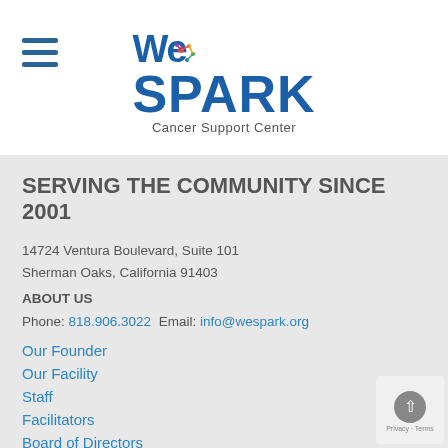[Figure (logo): WeSPARK Cancer Support Center logo with colorful star/spark decoration above the letters]
SERVING THE COMMUNITY SINCE 2001
14724 Ventura Boulevard, Suite 101
Sherman Oaks, California 91403
Phone: 818.906.3022 Email: info@wespark.org
ABOUT US
Our Founder
Our Facility
Staff
Facilitators
Board of Directors